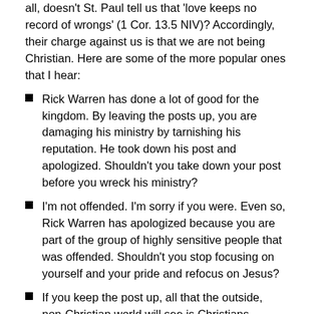all, doesn't St. Paul tell us that 'love keeps no record of wrongs' (1 Cor. 13.5 NIV)? Accordingly, their charge against us is that we are not being Christian. Here are some of the more popular ones that I hear:
Rick Warren has done a lot of good for the kingdom. By leaving the posts up, you are damaging his ministry by tarnishing his reputation. He took down his post and apologized. Shouldn't you take down your post before you wreck his ministry?
I'm not offended. I'm sorry if you were. Even so, Rick Warren has apologized because you are part of the group of highly sensitive people that was offended. Shouldn't you stop focusing on yourself and your pride and refocus on Jesus?
If you keep the post up, all that the outside, non-Christian world will see is Christians bickering. That is